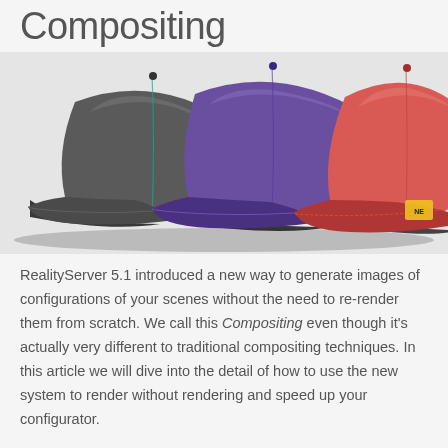Compositing
[Figure (photo): Three baseball caps arranged side by side: a dark grey cap on the left, a purple cap in the middle, and a red/coral cap on the right. All are rendered in 3D CG style against a light grey background.]
RealityServer 5.1 introduced a new way to generate images of configurations of your scenes without the need to re-render them from scratch. We call this Compositing even though it's actually very different to traditional compositing techniques. In this article we will dive into the detail of how to use the new system to render without rendering and speed up your configurator.